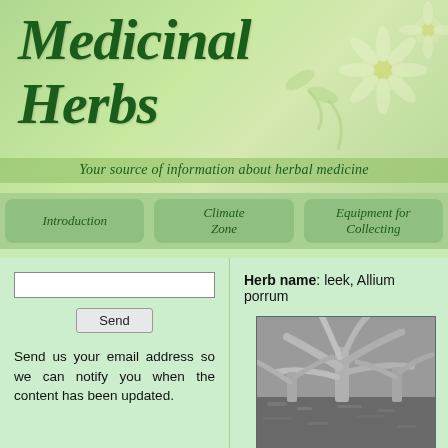Medicinal Herbs
Your source of information about herbal medicine
Introduction
Climate Zone
Equipment for Collecting
Send us your email address so we can notify you when the content has been updated.
Herb name: leek, Allium porrum
[Figure (photo): Black and white photo of leek plant (Allium porrum) growing in soil]